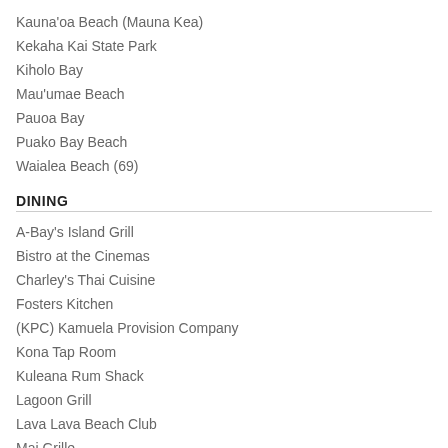Kauna'oa Beach (Mauna Kea)
Kekaha Kai State Park
Kiholo Bay
Mau'umae Beach
Pauoa Bay
Puako Bay Beach
Waialea Beach (69)
DINING
A-Bay's Island Grill
Bistro at the Cinemas
Charley's Thai Cuisine
Fosters Kitchen
(KPC) Kamuela Provision Company
Kona Tap Room
Kuleana Rum Shack
Lagoon Grill
Lava Lava Beach Club
Mai Grille
Nui Italian
Paniolo Sunset BBQ Dinner (Kahua Ranch)
Red Water Cafe
Roy's Waikoloa Bar & Grill
Sunset Bar & Grill & Pool Bar